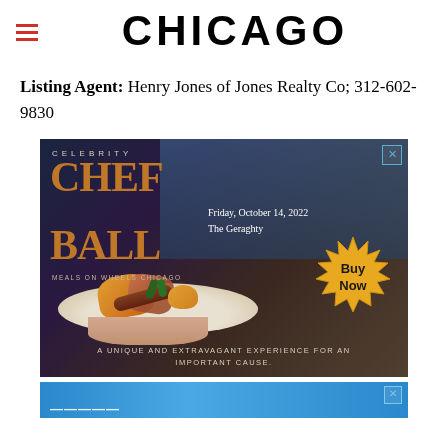CHICAGO
Listing Agent: Henry Jones of Jones Realty Co; 312-602-9830
[Figure (photo): Celebrity Chef Ball advertisement featuring a gourmet dish on a plate, event details Friday October 14 2022 at The Geraghty, with a Buy Now starburst badge. Tagline: A unique and extravagant experience for an important cause. Meals on Wheels Chicago.]
[Figure (photo): Partial second advertisement banner with blue background, partially visible at bottom of page.]